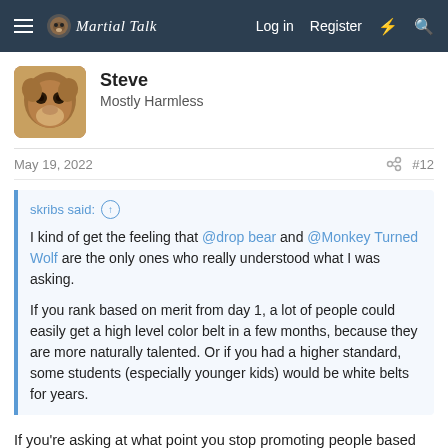Martial Talk — Log in  Register
Steve
Mostly Harmless
May 19, 2022  #12
skribs said: ↑
I kind of get the feeling that @drop bear and @Monkey Turned Wolf are the only ones who really understood what I was asking.

If you rank based on merit from day 1, a lot of people could easily get a high level color belt in a few months, because they are more naturally talented. Or if you had a higher standard, some students (especially younger kids) would be white belts for years.
If you're asking at what point you stop promoting people based on merit and start compromising standards, I'd say the problem is your standards. If you can't explain why someone earned